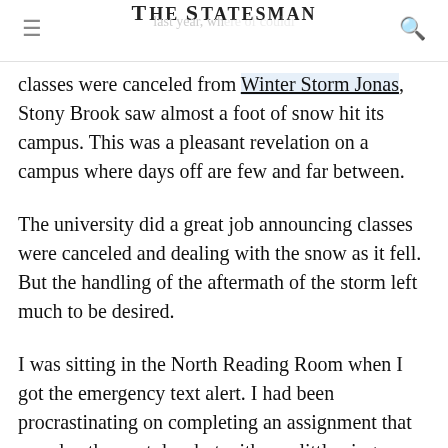THE STATESMAN
classes were canceled from Winter Storm Jonas, Stony Brook saw almost a foot of snow hit its campus. This was a pleasant revelation on a campus where days off are few and far between.
The university did a great job announcing classes were canceled and dealing with the snow as it fell. But the handling of the aftermath of the storm left much to be desired.
I was sitting in the North Reading Room when I got the emergency text alert. I had been procrastinating on completing an assignment that was due the next day, but with one little ping, my heart grew three sizes like the Grinch on Christmas. I commend the university for having the common decency to not leave…